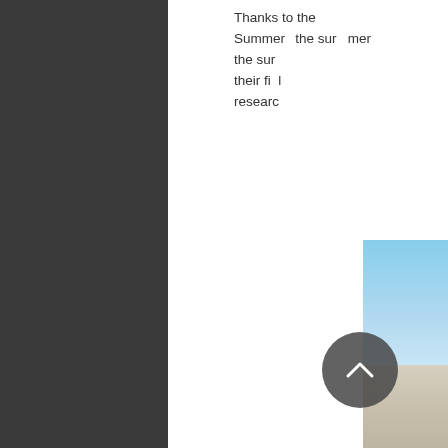Thanks to the Summer... the summer... their fi... research...
[Figure (photo): Partial view of a building exterior with blue sky and concrete/stone facade, cropped at right edge of page]